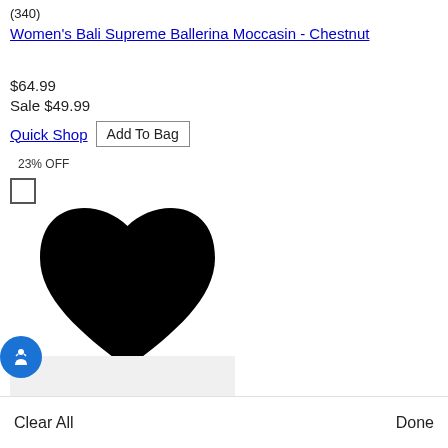(340)
Women's Bali Supreme Ballerina Moccasin - Chestnut
$64.99
Sale $49.99
Quick Shop | Add To Bag
23% OFF
[Figure (illustration): A large black filled heart icon used as a wishlist/favorite button]
[Figure (photo): Partial product thumbnail showing a chestnut-colored moccasin shoe on a light gray background]
Clear All
Done